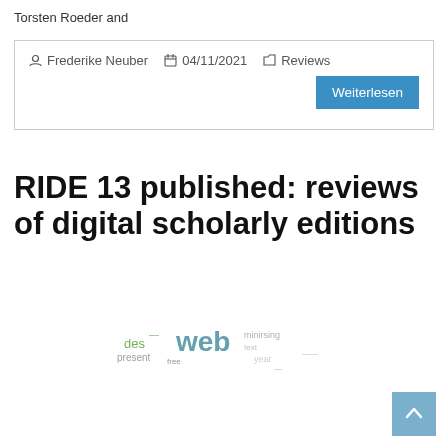Torsten Roeder and
Frederike Neuber  04/11/2021  Reviews
RIDE 13 published: reviews of digital scholarly editions
[Figure (illustration): Word cloud image with terms like 'web', 'des', 'present', and other digital edition related words in various colors (green, teal, grey)]